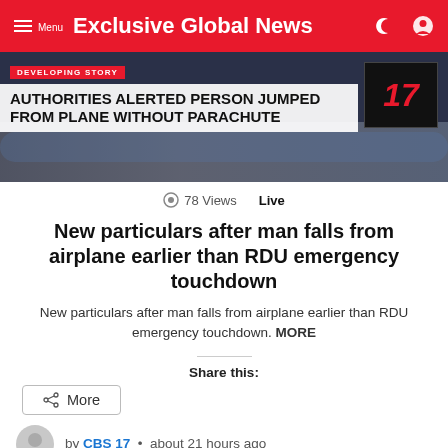Exclusive Global News
[Figure (screenshot): News broadcast screenshot showing 'DEVELOPING STORY: AUTHORITIES ALERTED PERSON JUMPED FROM PLANE WITHOUT PARACHUTE' with Channel 17 logo]
78 Views  Live
New particulars after man falls from airplane earlier than RDU emergency touchdown
New particulars after man falls from airplane earlier than RDU emergency touchdown. MORE
Share this:
More
by CBS 17 • about 21 hours ago
[Figure (screenshot): Circuit board / electronic components colorful image with notification badge showing number 9]